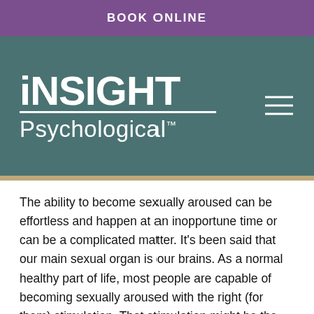BOOK ONLINE
[Figure (logo): Insight Psychological logo — stylized 'INSIGHT' in large bold white text with a horizontal rule, and 'Psychological.' beneath it, on a teal/dark green background. Hamburger menu icon at right.]
The ability to become sexually aroused can be effortless and happen at an inopportune time or can be a complicated matter. It's been said that our main sexual organ is our brains. As a normal healthy part of life, most people are capable of becoming sexually aroused with the right (for them) stimulation. That stimulation might be the touch of your partner, a movie, book, pornography, or even the sight of a partner you desire.